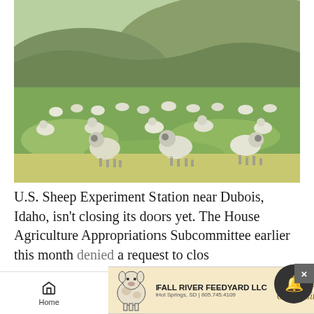[Figure (photo): Flock of sheep grazing on green grassland prairie with rolling hills in the background. U.S. Sheep Experiment Station near Dubois, Idaho.]
U.S. Sheep Experiment Station near Dubois, Idaho, isn't closing its doors yet. The House Agriculture Appropriations Subcommittee earlier this month denied a request to clos...